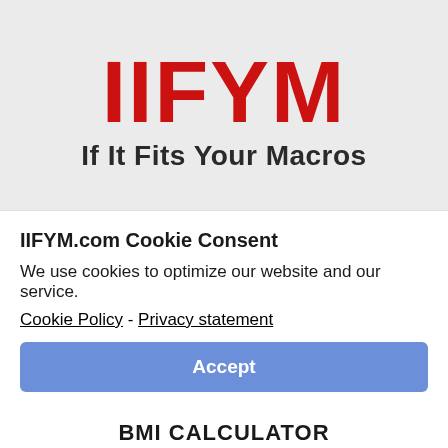[Figure (logo): IIFYM logo with large red bold letters 'IIFYM' and subtitle 'If It Fits Your Macros' on a light gray background]
IIFYM.com Cookie Consent
We use cookies to optimize our website and our service.
Cookie Policy - Privacy statement
Accept
BMI CALCULATOR